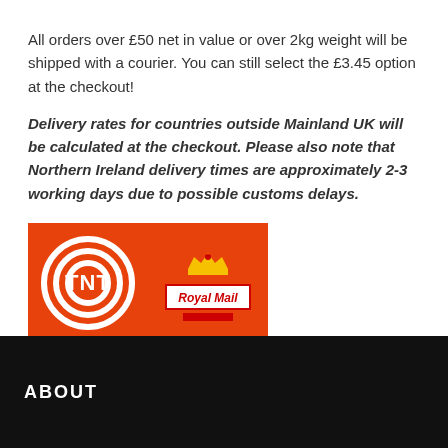All orders over £50 net in value or over 2kg weight will be shipped with a courier. You can still select the £3.45 option at the checkout!
Delivery rates for countries outside Mainland UK will be calculated at the checkout. Please also note that Northern Ireland delivery times are approximately 2-3 working days due to possible customs delays.
[Figure (logo): TNT and Royal Mail logos side by side on orange/red background]
ABOUT